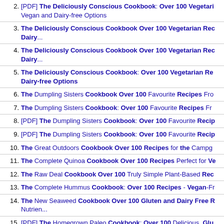2. [PDF] The Deliciously Conscious Cookbook: Over 100 Vegetarian Vegan and Dairy-free Options
3. The Deliciously Conscious Cookbook Over 100 Vegetarian Rec Dairy...
4. The Deliciously Conscious Cookbook Over 100 Vegetarian Rec Dairy...
5. The Deliciously Conscious Cookbook: Over 100 Vegetarian Re Dairy-free Options
6. The Dumpling Sisters Cookbook Over 100 Favourite Recipes Fro
7. The Dumpling Sisters Cookbook: Over 100 Favourite Recipes Fr
8. [PDF] The Dumpling Sisters Cookbook: Over 100 Favourite Recip
9. [PDF] The Dumpling Sisters Cookbook: Over 100 Favourite Recip
10. The Great Outdoors Cookbook Over 100 Recipes for the Campg
11. The Complete Quinoa Cookbook Over 100 Recipes Perfect for Ve
12. The Raw Deal Cookbook Over 100 Truly Simple Plant-Based Rec
13. The Complete Hummus Cookbook: Over 100 Recipes - Vegan-Fr
14. The New Seaweed Cookbook Over 100 Gluten and Dairy Free R Nutrien...
15. [PDF] The Homegrown Paleo Cookbook: Over 100 Delicious, Glu and a Complete Guide to Growing Your Own Healthy Food